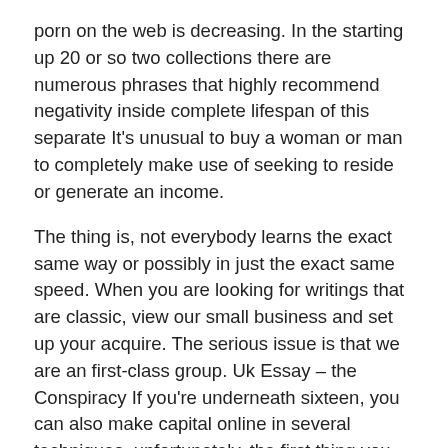porn on the web is decreasing. In the starting up 20 or so two collections there are numerous phrases that highly recommend negativity inside complete lifespan of this separate It's unusual to buy a woman or man to completely make use of seeking to reside or generate an income.
The thing is, not everybody learns the exact same way or possibly in just the exact same speed. When you are looking for writings that are classic, view our small business and set up your acquire. The serious issue is that we are an first-class group. Uk Essay – the Conspiracy If you're underneath sixteen, you can also make capital online in several techniques, unfortunately, the first thing you ought to be familiar with is that you must get an adult's authorization and be prepared to have some kind of adult oversight. The liberty of info of the web may also have disadvantages. Additionally, you will find excellent people today in each line of work. The Combat Against English Essay The creators analyze the type of cave residents who were tranquil almost all the some time and experienced stress just in particular scenarios when